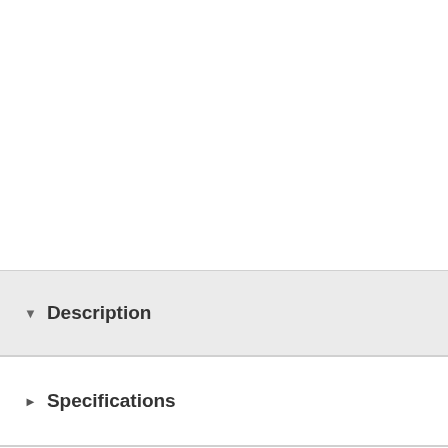Description
Specifications
Faux leather upper with t-strap construction